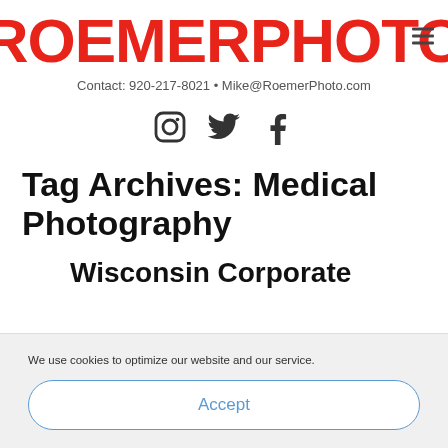ROEMERPHOTO
Contact: 920-217-8021 • Mike@RoemerPhoto.com
[Figure (other): Social media icons: Instagram, Twitter, Facebook]
Tag Archives: Medical Photography
Wisconsin Corporate
We use cookies to optimize our website and our service.
Accept